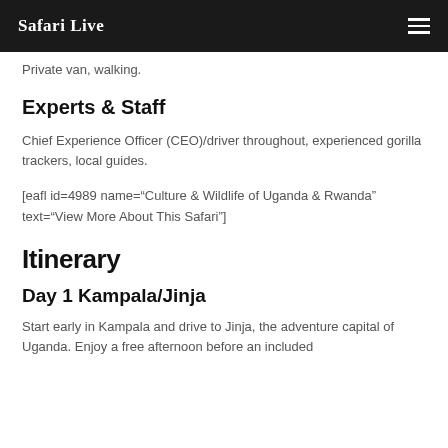Safari Live
Private van, walking.
Experts & Staff
Chief Experience Officer (CEO)/driver throughout, experienced gorilla trackers, local guides.
[eafl id=4989 name="Culture & Wildlife of Uganda & Rwanda" text="View More About This Safari"]
Itinerary
Day 1 Kampala/Jinja
Start early in Kampala and drive to Jinja, the adventure capital of Uganda. Enjoy a free afternoon before an included